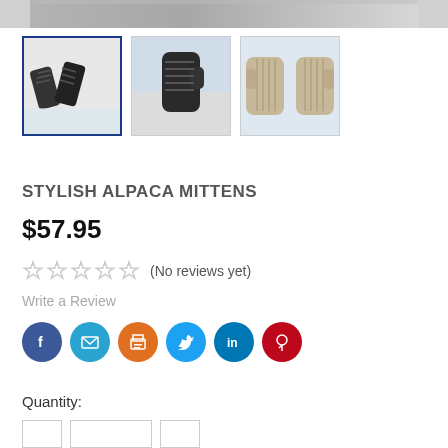[Figure (photo): Top banner with partial product photo of alpaca mittens against winter background]
[Figure (photo): Three product thumbnail images of stylish alpaca mittens: dark striped mittens close-up (selected, blue border), dark mitten raised against snowy field, and two beige mittens held up]
STYLISH ALPACA MITTENS
$57.95
(No reviews yet)
Write a Review
[Figure (infographic): Row of six social sharing buttons: Facebook (dark blue), Email (light blue), Print (orange), Twitter (blue), LinkedIn (teal), Pinterest (red)]
Quantity:
[Figure (other): Quantity selector with minus button, number input field, and plus button]